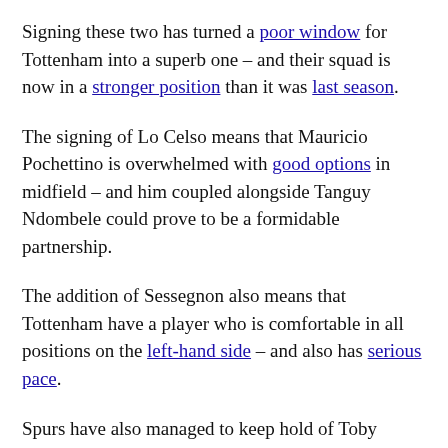Signing these two has turned a poor window for Tottenham into a superb one – and their squad is now in a stronger position than it was last season.
The signing of Lo Celso means that Mauricio Pochettino is overwhelmed with good options in midfield – and him coupled alongside Tanguy Ndombele could prove to be a formidable partnership.
The addition of Sessegnon also means that Tottenham have a player who is comfortable in all positions on the left-hand side – and also has serious pace.
Spurs have also managed to keep hold of Toby Alderweireld – and his £25m release clause has expired, meaning if anyone from Europe wants to sign him, they will have to pay serious money.
The only potential problem positions for Tottenham will be right-back where they decided not to replace Kieran Trippier –